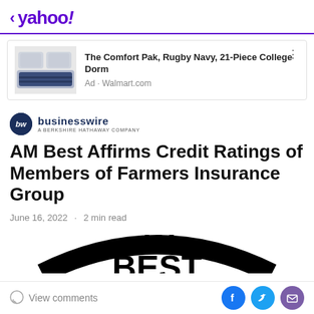< yahoo!
[Figure (other): Ad banner for The Comfort Pak, Rugby Navy, 21-Piece College Dorm from Walmart.com, with product image of bedding set]
The Comfort Pak, Rugby Navy, 21-Piece College Dorm
Ad · Walmart.com
[Figure (logo): BusinessWire logo - A Berkshire Hathaway Company]
AM Best Affirms Credit Ratings of Members of Farmers Insurance Group
June 16, 2022 · 2 min read
[Figure (photo): Partial AM Best logo showing large bold text AM and partial BEST letters in black]
View comments